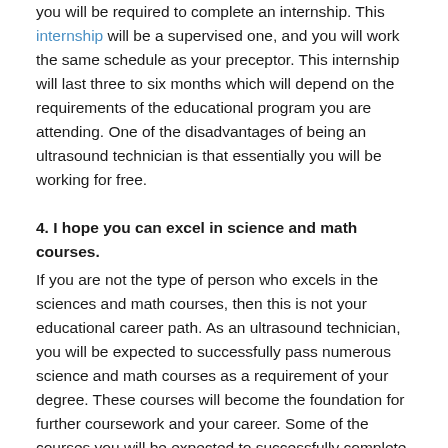you will be required to complete an internship. This internship will be a supervised one, and you will work the same schedule as your preceptor. This internship will last three to six months which will depend on the requirements of the educational program you are attending. One of the disadvantages of being an ultrasound technician is that essentially you will be working for free.
4. I hope you can excel in science and math courses.
If you are not the type of person who excels in the sciences and math courses, then this is not your educational career path. As an ultrasound technician, you will be expected to successfully pass numerous science and math courses as a requirement of your degree. These courses will become the foundation for further coursework and your career. Some of the courses you will be expected to successfully complete are biology, chemistry, anatomy, physiology, college physics, and college algebra.
5. You cannot really do much without your certification